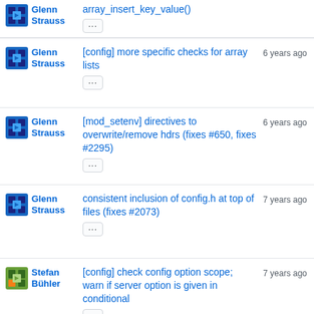Glenn Strauss — array_insert_key_value() — ...
Glenn Strauss — [config] more specific checks for array lists — 6 years ago — ...
Glenn Strauss — [mod_setenv] directives to overwrite/remove hdrs (fixes #650, fixes #2295) — 6 years ago — ...
Glenn Strauss — consistent inclusion of config.h at top of files (fixes #2073) — 7 years ago — ...
Stefan Bühler — [config] check config option scope; warn if server option is given in conditional — 7 years ago — ...